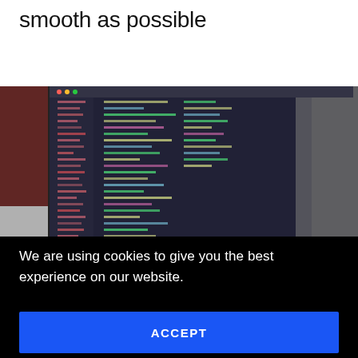smooth as possible
[Figure (photo): A laptop/tablet screen displaying code in a dark IDE (code editor) on a desk, with another monitor visible to the left and a blurred background on the right.]
We are using cookies to give you the best experience on our website.
ACCEPT